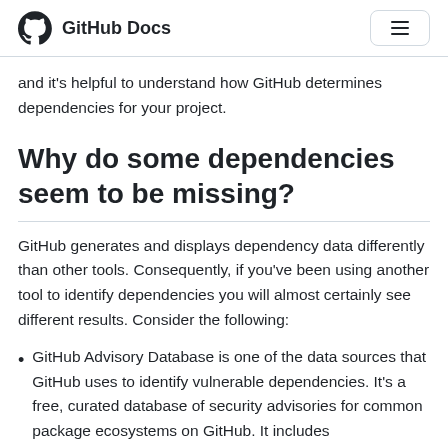GitHub Docs
and it's helpful to understand how GitHub determines dependencies for your project.
Why do some dependencies seem to be missing?
GitHub generates and displays dependency data differently than other tools. Consequently, if you've been using another tool to identify dependencies you will almost certainly see different results. Consider the following:
GitHub Advisory Database is one of the data sources that GitHub uses to identify vulnerable dependencies. It's a free, curated database of security advisories for common package ecosystems on GitHub. It includes